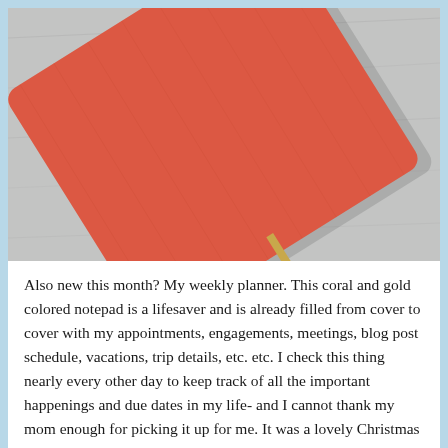[Figure (photo): A coral/red-orange leather-bound notebook with rounded corners and a gold ribbon bookmark, lying at an angle on a gray textured fabric surface.]
Also new this month? My weekly planner. This coral and gold colored notepad is a lifesaver and is already filled from cover to cover with my appointments, engagements, meetings, blog post schedule, vacations, trip details, etc. etc. I check this thing nearly every other day to keep track of all the important happenings and due dates in my life- and I cannot thank my mom enough for picking it up for me. It was a lovely Christmas